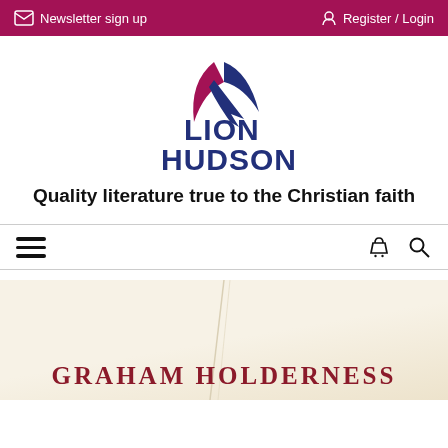Newsletter sign up   Register / Login
[Figure (logo): Lion Hudson publisher logo with stylized red and blue wing/leaf design above bold blue text reading LION HUDSON]
Quality literature true to the Christian faith
[Figure (screenshot): Navigation bar with hamburger menu icon on left and basket and search icons on right]
[Figure (photo): Book cover partial image with cream/beige texture and author name GRAHAM HOLDERNESS in dark red serif capital letters at bottom]